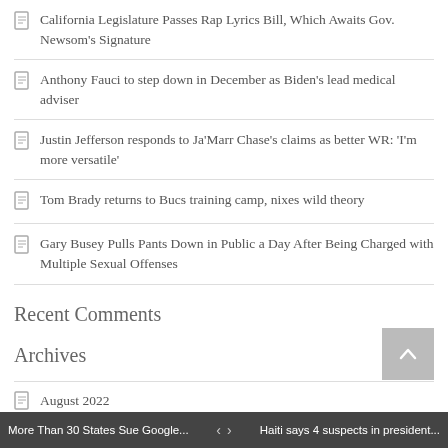California Legislature Passes Rap Lyrics Bill, Which Awaits Gov. Newsom's Signature
Anthony Fauci to step down in December as Biden's lead medical adviser
Justin Jefferson responds to Ja'Marr Chase's claims as better WR: 'I'm more versatile'
Tom Brady returns to Bucs training camp, nixes wild theory
Gary Busey Pulls Pants Down in Public a Day After Being Charged with Multiple Sexual Offenses
Recent Comments
Archives
August 2022
More Than 30 States Sue Google... < > Haiti says 4 suspects in president...